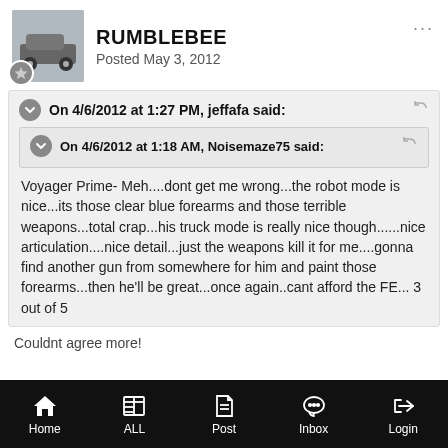RUMBLEBEE
Posted May 3, 2012
On 4/6/2012 at 1:27 PM, jeffafa said:
On 4/6/2012 at 1:18 AM, Noisemaze75 said:
Voyager Prime- Meh....dont get me wrong...the robot mode is nice...its those clear blue forearms and those terrible weapons...total crap...his truck mode is really nice though......nice articulation....nice detail...just the weapons kill it for me....gonna find another gun from somewhere for him and paint those forearms...then he'll be great...once again..cant afford the FE... 3 out of 5
Couldnt agree more!
Home  ALL  Post  Inbox  Login